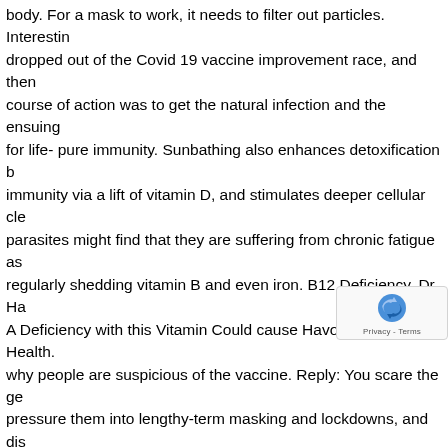body. For a mask to work, it needs to filter out particles. Interesting dropped out of the Covid 19 vaccine improvement race, and then course of action was to get the natural infection and the ensuing for life- pure immunity. Sunbathing also enhances detoxification b immunity via a lift of vitamin D, and stimulates deeper cellular cle parasites might find that they are suffering from chronic fatigue as regularly shedding vitamin B and even iron. B12 Deficiency. Dr Ha A Deficiency with this Vitamin Could cause Havoc on your Health. why people are suspicious of the vaccine. Reply: You scare the ge pressure them into lengthy-term masking and lockdowns, and dis making an attempt to provide early, outpatient treatment (HCQ o you'll be able to see from the picture, aerosolized coronaviruses o via the pores in a surgical mask, which can have a diameter 100 ins single virus. Most individuals are going to be ready to put togethe with intestine infections.

Update April 30: India points complete masking instructions for d with Covid patients. BTW, in response to our world in k to buy stromectol australia no prescription and the US l demise price per million--and the US' price is the lowest pores in the paper had been as massive as that boulder on the m
[Figure (other): reCAPTCHA badge overlay with Privacy - Terms text, partially covering the text content in the lower right area of the page]